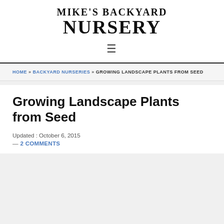MIKE'S BACKYARD NURSERY
HOME » BACKYARD NURSERIES » GROWING LANDSCAPE PLANTS FROM SEED
Growing Landscape Plants from Seed
Updated : October 6, 2015
— 2 COMMENTS